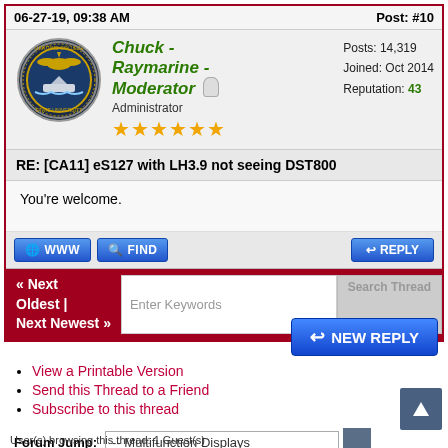06-27-19, 09:38 AM | Post: #10
Chuck - Raymarine - Moderator | Administrator | Posts: 14,319 | Joined: Oct 2014 | Reputation: 43
RE: [CA11] eS127 with LH3.9 not seeing DST800
You're welcome.
« Next Oldest | Next Newest »
NEW REPLY
View a Printable Version
Send this Thread to a Friend
Subscribe to this thread
Forum Jump: -- Multifunction Displays
User(s) browsing this thread: 1 Guest(s)